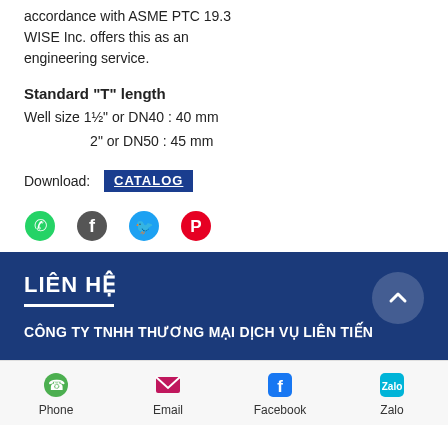accordance with ASME PTC 19.3 WISE Inc. offers this as an engineering service.
Standard "T" length
Well size 1½" or DN40 : 40 mm
2" or DN50 : 45 mm
Download: CATALOG
[Figure (infographic): Social sharing icons: WhatsApp (green), Facebook (dark), Twitter (blue), Pinterest (red)]
LIÊN HỆ
CÔNG TY TNHH THƯƠNG MẠI DỊCH VỤ LIÊN TIẾN
[Figure (infographic): Contact bar with Phone, Email, Facebook, Zalo icons and labels]